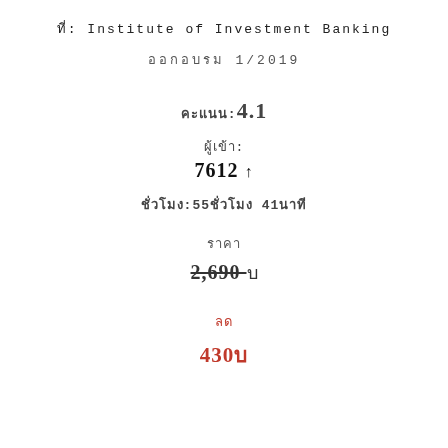ที่: Institute of Investment Banking
ออกอบรม 1/2019
คะแนน:4.1
ผู้เข้า:
7612 ↑
ชั่วโมง:55ชั่วโมง 41นาที
ราคา
2,690 บ
ลด
430บ